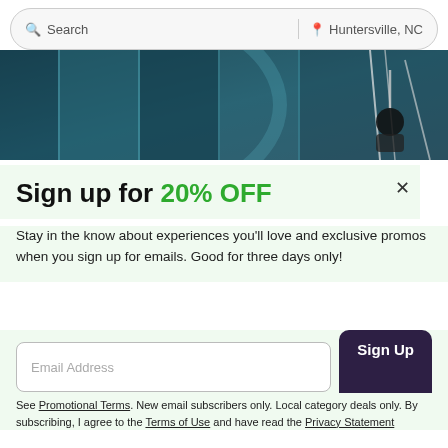Search | Huntersville, NC
[Figure (photo): Person rappelling or cleaning windows on a large glass building, aerial/close-up view with dark teal and blue tones]
Sign up for 20% OFF
Stay in the know about experiences you'll love and exclusive promos when you sign up for emails. Good for three days only!
Email Address
Sign Up
See Promotional Terms. New email subscribers only. Local category deals only. By subscribing, I agree to the Terms of Use and have read the Privacy Statement